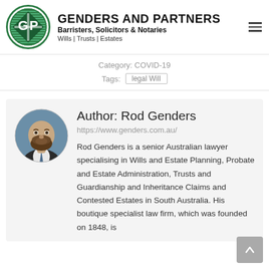[Figure (logo): Genders and Partners law firm logo: circular green-striped emblem with GP monogram, firm name and tagline]
Category: COVID-19
Tags:  legal Will
Author: Rod Genders
https://www.genders.com.au/
[Figure (photo): Circular portrait photo of Rod Genders, a man with a beard wearing a suit]
Rod Genders is a senior Australian lawyer specialising in Wills and Estate Planning, Probate and Estate Administration, Trusts and Guardianship and Inheritance Claims and Contested Estates in South Australia. His boutique specialist law firm, which was founded on 1848, is